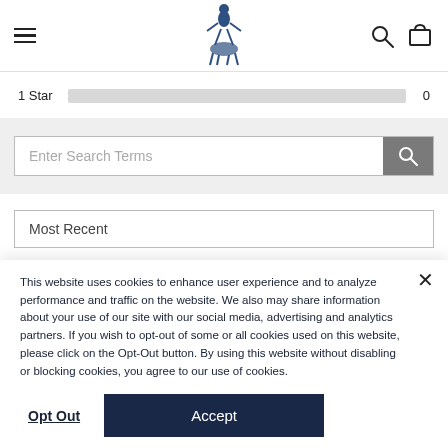Navigation header with hamburger menu, logo, search and cart icons
1 Star   0
Enter Search Terms
Most Recent
This website uses cookies to enhance user experience and to analyze performance and traffic on the website. We also may share information about your use of our site with our social media, advertising and analytics partners. If you wish to opt-out of some or all cookies used on this website, please click on the Opt-Out button. By using this website without disabling or blocking cookies, you agree to our use of cookies.
Opt Out
Accept